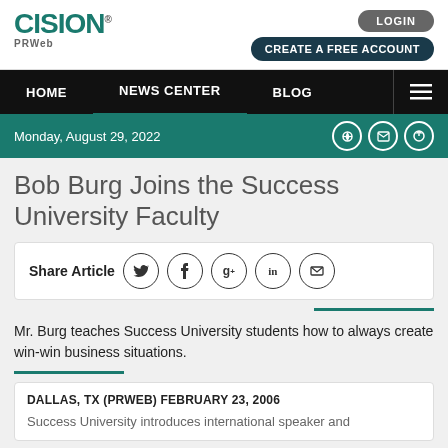CISION PRWeb
LOGIN | CREATE A FREE ACCOUNT
HOME | NEWS CENTER | BLOG
Monday, August 29, 2022
Bob Burg Joins the Success University Faculty
Share Article
Mr. Burg teaches Success University students how to always create win-win business situations.
DALLAS, TX (PRWEB) FEBRUARY 23, 2006
Success University introduces international speaker and